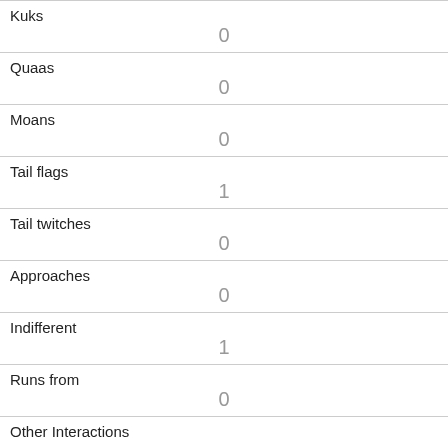| Field | Value |
| --- | --- |
| Kuks | 0 |
| Quaas | 0 |
| Moans | 0 |
| Tail flags | 1 |
| Tail twitches | 0 |
| Approaches | 0 |
| Indifferent | 1 |
| Runs from | 0 |
| Other Interactions |  |
| Lat/Long | POINT (-73.9764839973068 40.7691725326976) |